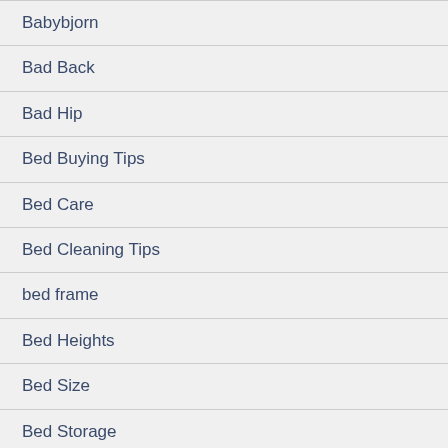Babybjorn
Bad Back
Bad Hip
Bed Buying Tips
Bed Care
Bed Cleaning Tips
bed frame
Bed Heights
Bed Size
Bed Storage